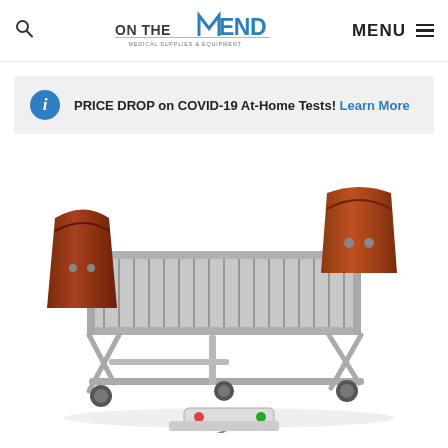ON THE MEND MEDICAL SUPPLIES & EQUIPMENT — MENU
PRICE DROP on COVID-19 At-Home Tests! Learn More
[Figure (photo): Hospital/home care adjustable bed with cherry wood headboard and footboard, metal spring frame, shown at low position with wheels and a hand control unit visible at the bottom, on white background.]